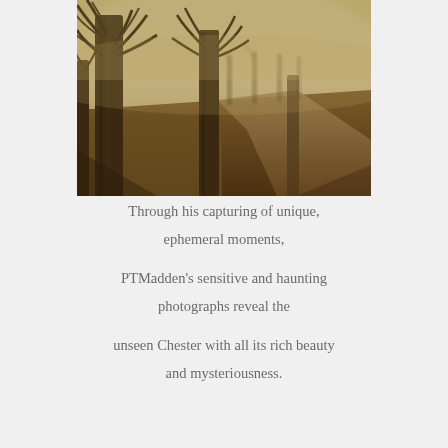[Figure (photo): Sepia-toned photograph of a misty park path lined with bare winter trees, curving into the foggy distance. The ground is covered with frost or dead grass. The atmosphere is moody and atmospheric.]
Through his capturing of unique, ephemeral moments,

PTMadden's sensitive and haunting photographs reveal the

unseen Chester with all its rich beauty and mysteriousness.